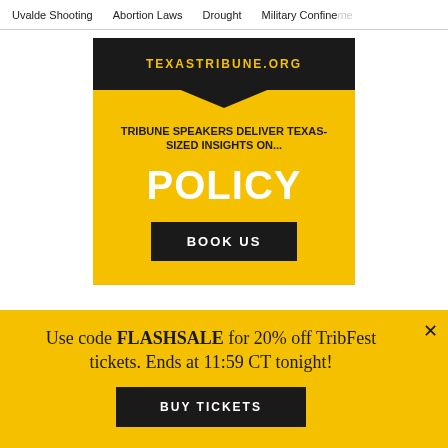Uvalde Shooting   Abortion Laws   Drought   Military Confinement
[Figure (infographic): Yellow promotional banner for Texas Tribune Speakers Bureau. Dark top section with logo text, yellow body with bold text reading 'TRIBUNE SPEAKERS DELIVER TEXAS-SIZED INSIGHTS ON...' and large white 'POLICY' text, with a black 'BOOK US' button.]
Use code FLASHSALE for 20% off TribFest tickets. Ends at 11:59 CT tonight!
BUY TICKETS